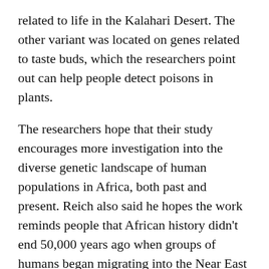related to life in the Kalahari Desert. The other variant was located on genes related to taste buds, which the researchers point out can help people detect poisons in plants.
The researchers hope that their study encourages more investigation into the diverse genetic landscape of human populations in Africa, both past and present. Reich also said he hopes the work reminds people that African history didn’t end 50,000 years ago when groups of humans began migrating into the Near East and beyond.
“The late Stone Age in Africa is like a black hole, research-wise,” said Reich. “Ancient DNA can address that gap.”